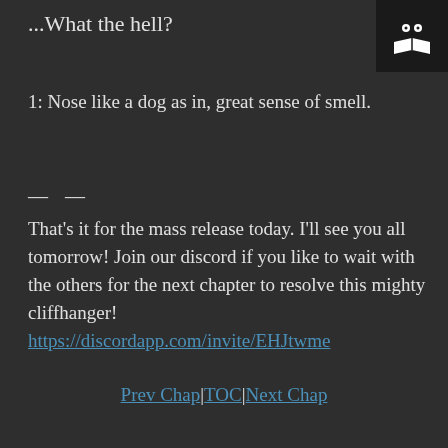...What the hell?
[Figure (logo): Dark box with a white owl/reader icon (two dots for eyes and an open book below)]
1: Nose like a dog as in, great sense of smell.
— —

That's it for the mass release today. I'll see you all tomorrow! Join our discord if you like to wait with the others for the next chapter to resolve this mighty cliffhanger!
https://discordapp.com/invite/EHJtwme
Prev Chap|TOC|Next Chap